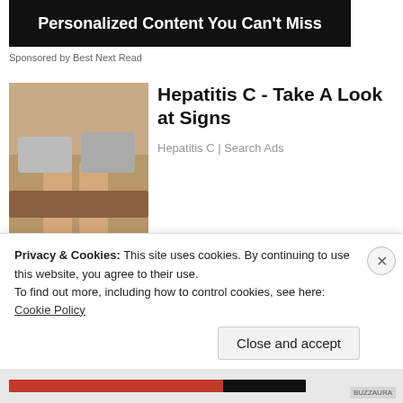[Figure (photo): Dark banner with text 'Personalized Content You Can't Miss']
Sponsored by Best Next Read
[Figure (photo): Photo of woman's legs seated on a sofa]
Hepatitis C - Take A Look at Signs
Hepatitis C | Search Ads
[Figure (photo): Photo of two people (man and woman) posing together]
[Pics] Donald Trump's House Cost $160M & This Is What It Looks Like Inside
BuzzAura
Privacy & Cookies: This site uses cookies. By continuing to use this website, you agree to their use.
To find out more, including how to control cookies, see here: Cookie Policy
Close and accept